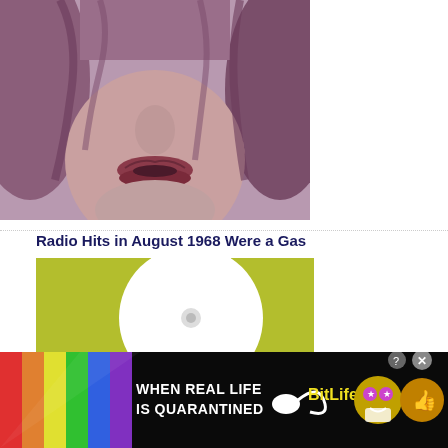[Figure (photo): Close-up photo of a person's lower face with curly hair, lips slightly open, pinkish-purple tones]
Radio Hits in August 1968 Were a Gas
[Figure (photo): Photo of a yellow-green vinyl record label showing text: Prod., Album, THE, WILL, PHONOGRAPH RE, CLASSICAL GAS]
[Figure (photo): Advertisement banner: rainbow stripes on left, text WHEN REAL LIFE IS QUARANTINED, BitLife logo with sperm icon, cartoon characters with star eyes and mask, thumbs up icon, X close button]